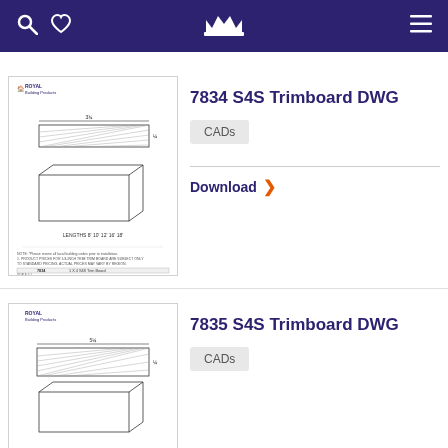Royal Building Products navigation bar
[Figure (engineering-diagram): Royal Building Products CAD drawing of 1 X 4 S4S Trim Board (part 7834), showing top and perspective views with dimensions, lengths noted.]
7834 S4S Trimboard DWG
CADs
Download
[Figure (engineering-diagram): Royal Building Products CAD drawing of 1 X 5 S4S Trim Board (part 7835), showing top and perspective views with dimensions.]
7835 S4S Trimboard DWG
CADs